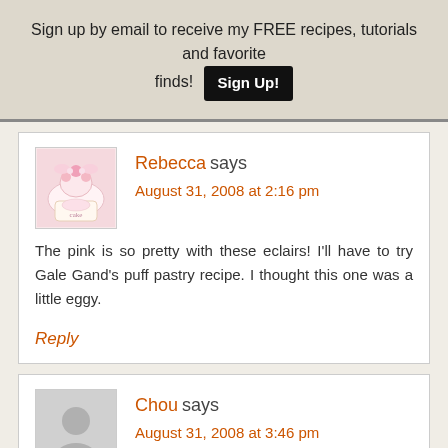Sign up by email to receive my FREE recipes, tutorials and favorite finds! Sign Up!
Rebecca says
August 31, 2008 at 2:16 pm
The pink is so pretty with these eclairs! I'll have to try Gale Gand's puff pastry recipe. I thought this one was a little eggy.
Reply
Chou says
August 31, 2008 at 3:46 pm